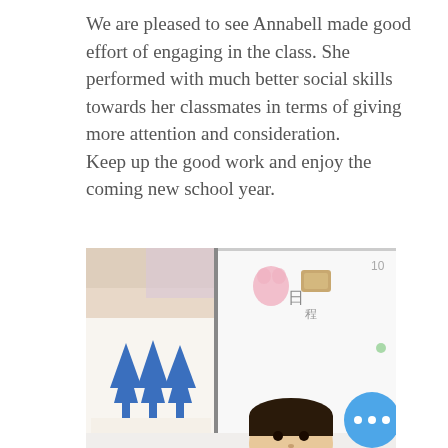We are pleased to see Annabell made good effort of engaging in the class. She performed with much better social skills towards her classmates in terms of giving more attention and consideration.
Keep up the good work and enjoy the coming new school year.
[Figure (photo): A classroom scene showing a child's artwork with blue tree shapes on paper hung on the wall, a whiteboard with Japanese characters and stickers, and a young child standing in front of the whiteboard. A blue circular button with three dots is overlaid in the bottom-right corner of the photo.]